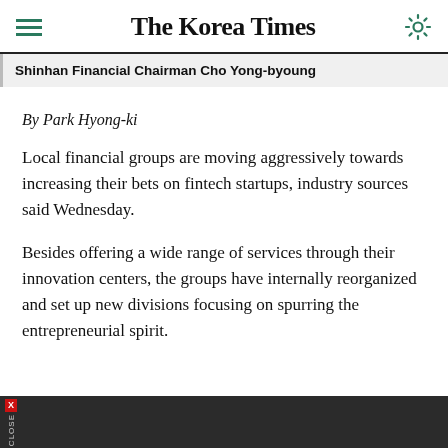The Korea Times
Shinhan Financial Chairman Cho Yong-byoung
By Park Hyong-ki
Local financial groups are moving aggressively towards increasing their bets on fintech startups, industry sources said Wednesday.
Besides offering a wide range of services through their innovation centers, the groups have internally reorganized and set up new divisions focusing on spurring the entrepreneurial spirit.